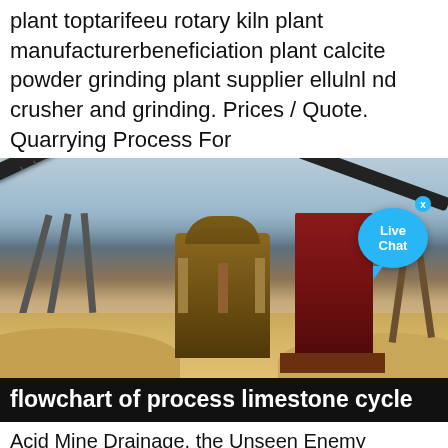plant toptarifeeu rotary kiln plant manufacturerbeneficiation plant calcite powder grinding plant supplier ellulnl nd crusher and grinding. Prices / Quote. Quarrying Process For
[Figure (photo): Photograph of a large industrial quarry/mining plant with conveyor belts, a cone crusher, a tall red rectangular structure, and support pillars on sandy ground. A Live Chat button bubble is visible in the upper right.]
flowchart of process limestone cycle
Acid Mine Drainage, the Unseen Enemy Valdosta State University. This process requires a number of steps in which the land is stripped of all Illustration three